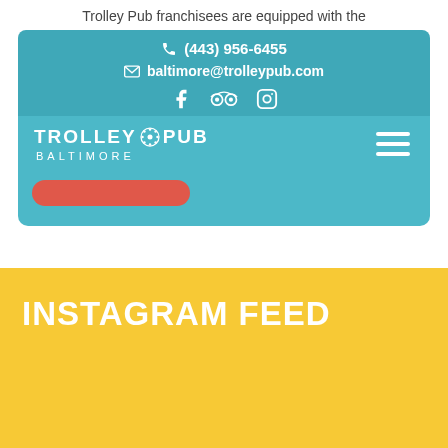Trolley Pub franchisees are equipped with the
(443) 956-6455
baltimore@trolleypub.com
[Figure (screenshot): Social media icons: Facebook, TripAdvisor, Instagram]
[Figure (logo): Trolley Pub Baltimore logo with gear icon]
[Figure (other): Hamburger menu icon (three horizontal lines)]
[Figure (other): Red rounded button/pill shape]
INSTAGRAM FEED